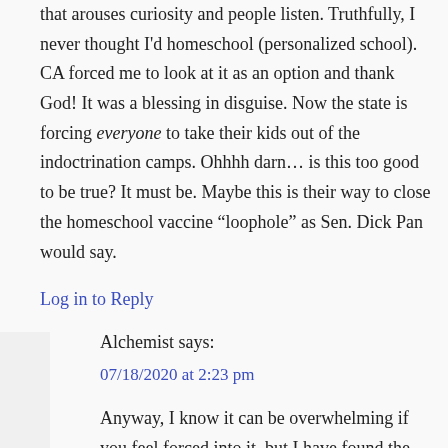that arouses curiosity and people listen. Truthfully, I never thought I'd homeschool (personalized school). CA forced me to look at it as an option and thank God! It was a blessing in disguise. Now the state is forcing everyone to take their kids out of the indoctrination camps. Ohhhh darn… is this too good to be true? It must be. Maybe this is their way to close the homeschool vaccine “loophole” as Sen. Dick Pan would say.
Log in to Reply
Alchemist says:
07/18/2020 at 2:23 pm
Anyway, I know it can be overwhelming if you feel forced into it, but I have found the community to be extremely supportive and helpful in guiding newcomers through the process.